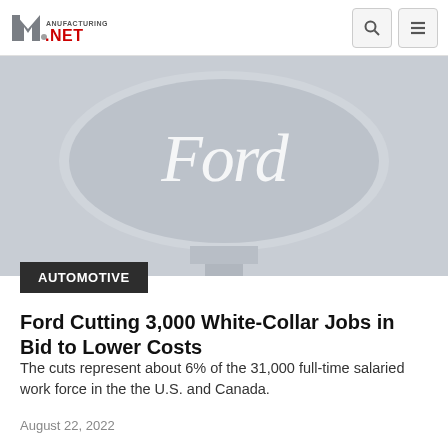Manufacturing.NET
[Figure (photo): Ford logo emblem, light blue-grey background, showing the Ford oval badge]
AUTOMOTIVE
Ford Cutting 3,000 White-Collar Jobs in Bid to Lower Costs
The cuts represent about 6% of the 31,000 full-time salaried work force in the the U.S. and Canada.
August 22, 2022